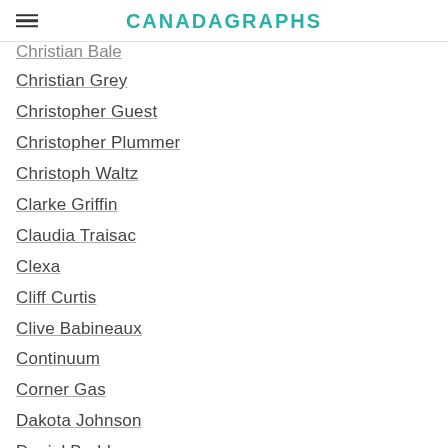CANADAGRAPHS
Christian Bale
Christian Grey
Christopher Guest
Christopher Plummer
Christoph Waltz
Clarke Griffin
Claudia Traisac
Clexa
Cliff Curtis
Clive Babineaux
Continuum
Corner Gas
Dakota Johnson
Daniel Bruhl
Dan Rather